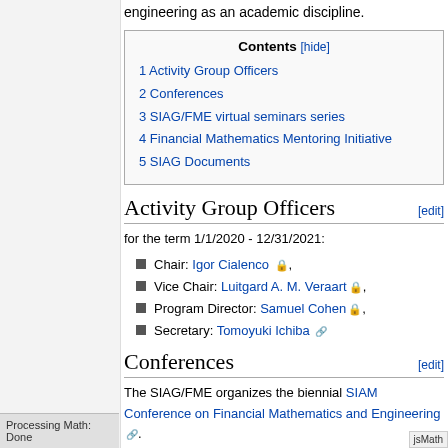engineering as an academic discipline.
| Contents [hide] |
| --- |
| 1 Activity Group Officers |
| 2 Conferences |
| 3 SIAG/FME virtual seminars series |
| 4 Financial Mathematics Mentoring Initiative |
| 5 SIAG Documents |
Activity Group Officers [edit]
for the term 1/1/2020 - 12/31/2021:
Chair: Igor Cialenco 🔒,
Vice Chair: Luitgard A. M. Veraart 🔒,
Program Director: Samuel Cohen 🔒,
Secretary: Tomoyuki Ichiba 🔗
Conferences [edit]
The SIAG/FME organizes the biennial SIAM Conference on Financial Mathematics and Engineering 🔗.
SIAM Conference on Financial Mathematics and Engineering (FM21 🔗): June 1-4 2...
Processing Math: Done
jsMath